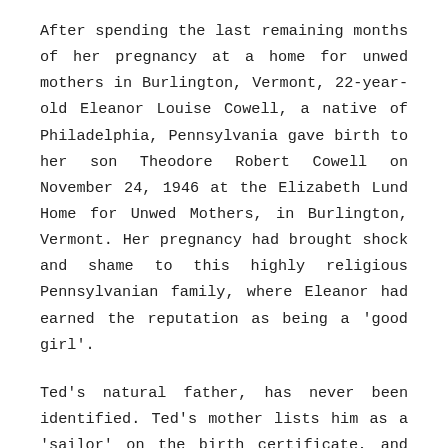After spending the last remaining months of her pregnancy at a home for unwed mothers in Burlington, Vermont, 22-year-old Eleanor Louise Cowell, a native of Philadelphia, Pennsylvania gave birth to her son Theodore Robert Cowell on November 24, 1946 at the Elizabeth Lund Home for Unwed Mothers, in Burlington, Vermont. Her pregnancy had brought shock and shame to this highly religious Pennsylvanian family, where Eleanor had earned the reputation as being a 'good girl'.
Ted's natural father, has never been identified. Ted's mother lists him as a 'sailor' on the birth certificate, and the child is noted as illegitimate. One name mentioned over time was Lloyd Marshall